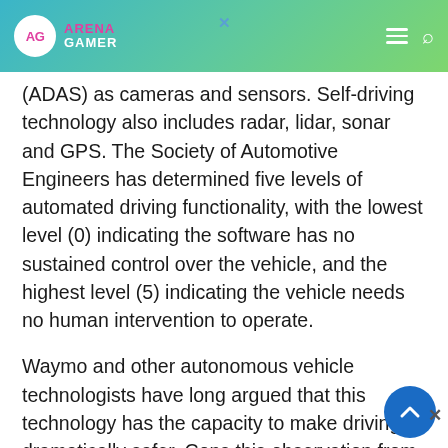Arena Gamer — website header with logo, hamburger menu, and search icon
(ADAS) as cameras and sensors. Self-driving technology also includes radar, lidar, sonar and GPS. The Society of Automotive Engineers has determined five levels of automated driving functionality, with the lowest level (0) indicating the software has no sustained control over the vehicle, and the highest level (5) indicating the vehicle needs no human intervention to operate.
Waymo and other autonomous vehicle technologists have long argued that this technology has the capacity to make driving dramatically safer. Cons this observation from an experienced truck drive